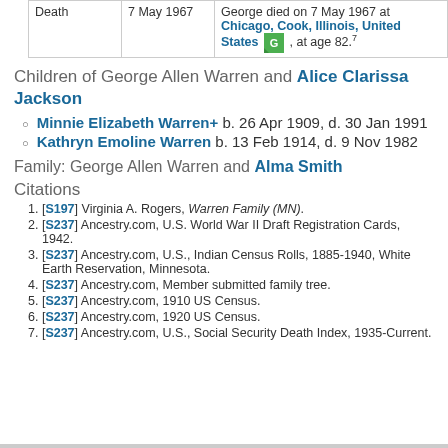| Event | Date | Description |
| --- | --- | --- |
| Death | 7 May 1967 | George died on 7 May 1967 at Chicago, Cook, Illinois, United States, at age 82.7 |
Children of George Allen Warren and Alice Clarissa Jackson
Minnie Elizabeth Warren+ b. 26 Apr 1909, d. 30 Jan 1991
Kathryn Emoline Warren b. 13 Feb 1914, d. 9 Nov 1982
Family: George Allen Warren and Alma Smith
Citations
[S197] Virginia A. Rogers, Warren Family (MN).
[S237] Ancestry.com, U.S. World War II Draft Registration Cards, 1942.
[S237] Ancestry.com, U.S., Indian Census Rolls, 1885-1940, White Earth Reservation, Minnesota.
[S237] Ancestry.com, Member submitted family tree.
[S237] Ancestry.com, 1910 US Census.
[S237] Ancestry.com, 1920 US Census.
[S237] Ancestry.com, U.S., Social Security Death Index, 1935-Current.